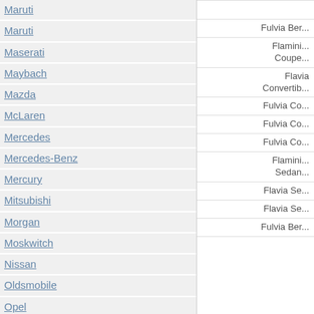Maruti
Maruti
Maserati
Maybach
Mazda
McLaren
Mercedes
Mercedes-Benz
Mercury
Mitsubishi
Morgan
Moskwitch
Nissan
Oldsmobile
Opel
PAGANI
Panoz
Peugeot
Plymouth
Pontiac
Fulvia Ber...
Flamini... Coupe...
Flavia Convertib...
Fulvia Co...
Fulvia Co...
Fulvia Co...
Flamini... Sedan...
Flavia Se...
Flavia Se...
Fulvia Ber...